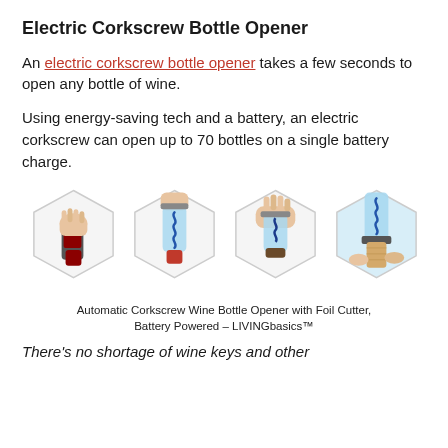Electric Corkscrew Bottle Opener
An electric corkscrew bottle opener takes a few seconds to open any bottle of wine.
Using energy-saving tech and a battery, an electric corkscrew can open up to 70 bottles on a single battery charge.
[Figure (photo): Four hexagonal images showing the steps of using an automatic electric corkscrew wine bottle opener: hand holding the device on bottle, corkscrew inserted, corkscrew gripping cork, and cork being extracted.]
Automatic Corkscrew Wine Bottle Opener with Foil Cutter, Battery Powered – LIVINGbasics™
There's no shortage of wine keys and other